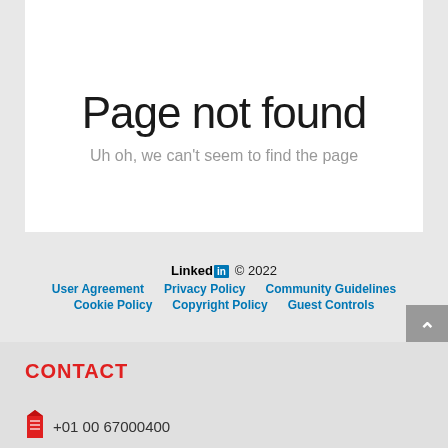LinkedIn © 2022
Page not found
Uh oh, we can't seem to find the page
LinkedIn © 2022 User Agreement Privacy Policy Community Guidelines Cookie Policy Copyright Policy Guest Controls
CONTACT
+01 00 67000400